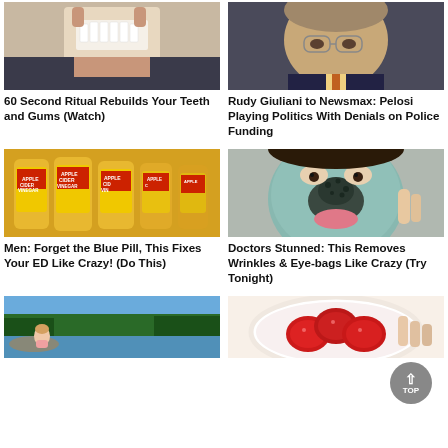[Figure (photo): Person showing teeth with fingers, dental/oral health advertisement]
60 Second Ritual Rebuilds Your Teeth and Gums (Watch)
[Figure (photo): Rudy Giuliani looking stern, older man in suit with glasses]
Rudy Giuliani to Newsmax: Pelosi Playing Politics With Denials on Police Funding
[Figure (photo): Apple cider vinegar bottles (Bragg brand), multiple bottles lined up]
Men: Forget the Blue Pill, This Fixes Your ED Like Crazy! (Do This)
[Figure (photo): Person with blue-grey clay face mask with dark spots on nose area]
Doctors Stunned: This Removes Wrinkles & Eye-bags Like Crazy (Try Tonight)
[Figure (photo): Woman sitting by a lake in nature, trees in background]
[Figure (photo): Red gummy candies in a white bowl/dish]